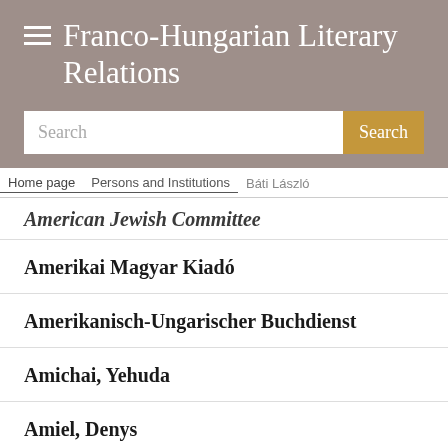Franco-Hungarian Literary Relations
Search
Home page > Persons and Institutions > Báti László
American Jewish Committee
Amerikai Magyar Kiadó
Amerikanisch-Ungarischer Buchdienst
Amichai, Yehuda
Amiel, Denys